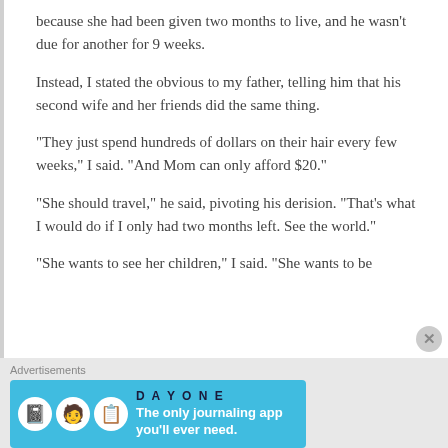because she had been given two months to live, and he wasn't due for another for 9 weeks.
Instead, I stated the obvious to my father, telling him that his second wife and her friends did the same thing.
“They just spend hundreds of dollars on their hair every few weeks,” I said. “And Mom can only afford $20.”
“She should travel,” he said, pivoting his derision. “That’s what I would do if I only had two months left. See the world.”
“She wants to see her children,” I said. “She wants to be
Advertisements
[Figure (infographic): Day One journaling app advertisement banner: blue background with app icon, text 'The only journaling app you’ll ever need.']